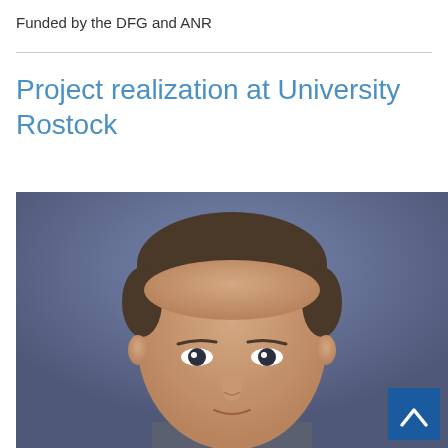Funded by the DFG and ANR
Project realization at University Rostock
[Figure (photo): Headshot portrait of a man with short dark hair against a blue-grey background, cropped to show head and upper forehead area. A blue button with a white upward chevron arrow is overlaid in the bottom-right corner.]